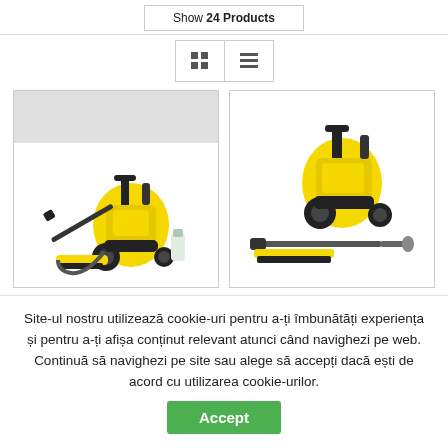Show 24 Products
[Figure (screenshot): View toggle buttons: grid view and list view]
[Figure (photo): Karcher pressure washer product image with accessories (left card)]
[Figure (photo): Karcher pressure washer product image with lance and brush (right card)]
Site-ul nostru utilizează cookie-uri pentru a-ți îmbunătăți experiența și pentru a-ți afișa conținut relevant atunci când navighezi pe web. Continuă să navighezi pe site sau alege să accepți dacă ești de acord cu utilizarea cookie-urilor.
Accept